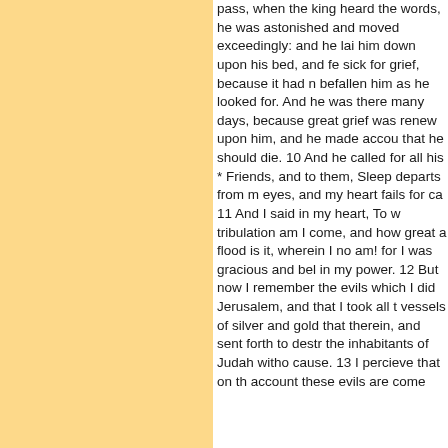pass, when the king heard the words, he was astonished and moved exceedingly: and he laid him down upon his bed, and fell sick for grief, because it had not befallen him as he looked for. And he was there many days, because great grief was renewed upon him, and he made account that he should die. 10 And he called for all his * Friends, and said to them, Sleep departs from my eyes, and my heart fails for care. 11 And I said in my heart, To what tribulation am I come, and how great a flood is it, wherein I now am! for I was gracious and beloved in my power. 12 But now I remember the evils which I did at Jerusalem, and that I took all the vessels of silver and gold that were therein, and sent forth to destroy the inhabitants of Judah without cause. 13 I percieve that on this account these evils are come